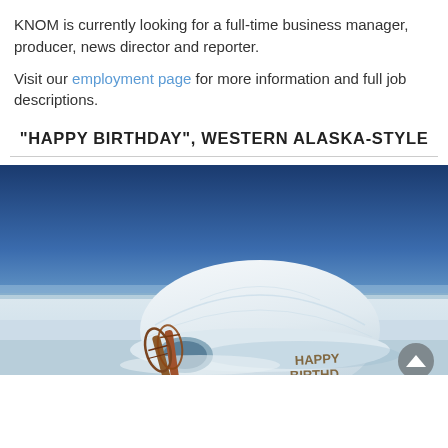KNOM is currently looking for a full-time business manager, producer, news director and reporter.
Visit our employment page for more information and full job descriptions.
“HAPPY BIRTHDAY”, WESTERN ALASKA-STYLE
[Figure (photo): Photograph of an igloo in a snowy Arctic/Western Alaska landscape with snowshoes leaning against it and 'HAPPY BIRTHDAY' written in the snow. Blue sky with light clouds in the background.]